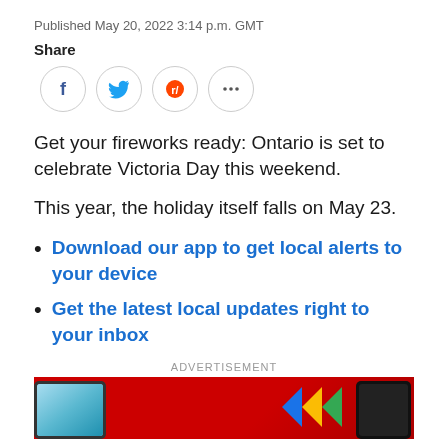Published May 20, 2022 3:14 p.m. GMT
Share
[Figure (infographic): Social share buttons: Facebook, Twitter, Reddit, and more (ellipsis) icons in circles]
Get your fireworks ready: Ontario is set to celebrate Victoria Day this weekend.
This year, the holiday itself falls on May 23.
Download our app to get local alerts to your device
Get the latest local updates right to your inbox
ADVERTISEMENT
[Figure (photo): Advertisement banner with red background showing two smartphones and a logo with colored arrows]